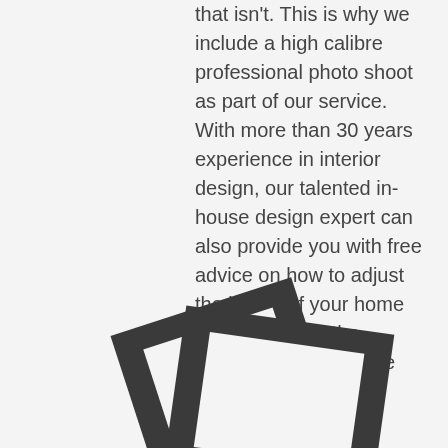that isn't. This is why we include a high calibre professional photo shoot as part of our service. With more than 30 years experience in interior design, our talented in-house design expert can also provide you with free advice on how to adjust the layout of your home to help you get the maximum price at sale time.
[Figure (illustration): Two overlapping dark photo frame rectangles arranged diagonally, one tilted left and one straight, with white interior areas, shown as a graphic icon]